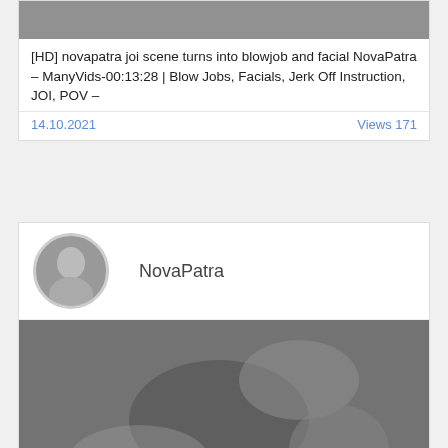[Figure (photo): Top portion of a video thumbnail image, cropped]
[HD] novapatra joi scene turns into blowjob and facial NovaPatra – ManyVids-00:13:28 | Blow Jobs, Facials, Jerk Off Instruction, JOI, POV –
14.10.2021   Views 171
[Figure (photo): Circular avatar photo of NovaPatra]
NovaPatra
[Figure (photo): Video thumbnail grayscale image]
[HD] novapatra incredible rimjob and massive cumshot NovaPatra – ManyVids-00:08:38 | Asian, Ass Licking, Cumshots, Oral Sex,